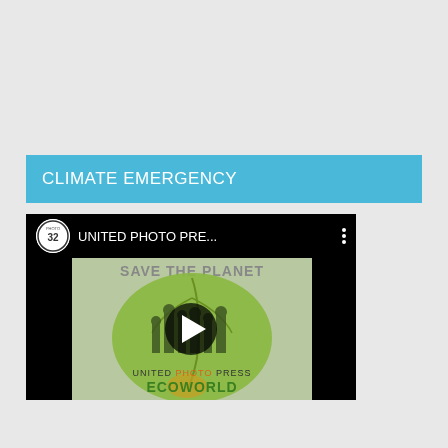[Figure (screenshot): Google Translate widget showing 'Select Language' dropdown button with Google G logo]
CLIMATE EMERGENCY
[Figure (screenshot): YouTube video player thumbnail for 'UNITED PHOTO PRE...' showing ECOWORLD green leaf with industrial silhouette, UNITED PHOTO PRESS branding, play button overlay]